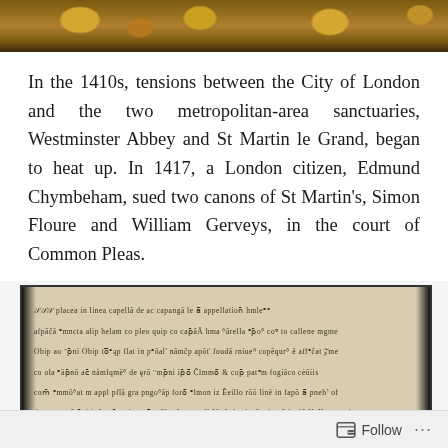[Figure (photo): Partial view of a decorative painting or illuminated artwork with gold and warm-toned medallion-like shapes visible along the bottom edge]
In the 1410s, tensions between the City of London and the two metropolitan-area sanctuaries, Westminster Abbey and St Martin le Grand, began to heat up. In 1417, a London citizen, Edmund Chymbeham, sued two canons of St Martin's, Simon Floure and William Gerveys, in the court of Common Pleas.
[Figure (photo): A photograph of a medieval manuscript page written in Gothic script, showing several lines of Latin or Middle English text in black ink on aged parchment]